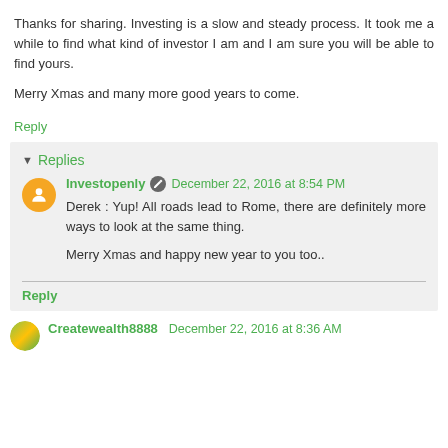Thanks for sharing. Investing is a slow and steady process. It took me a while to find what kind of investor I am and I am sure you will be able to find yours.
Merry Xmas and many more good years to come.
Reply
Replies
Investopenly  December 22, 2016 at 8:54 PM
Derek : Yup! All roads lead to Rome, there are definitely more ways to look at the same thing.

Merry Xmas and happy new year to you too..
Reply
Createwealth8888  December 22, 2016 at 8:36 AM